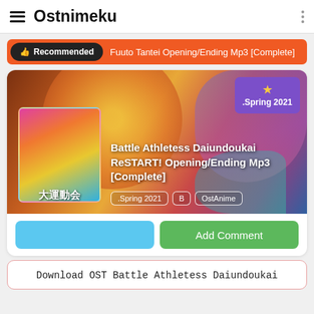Ostnimeku
Recommended — Fuuto Tantei Opening/Ending Mp3 [Complete]
[Figure (illustration): Anime card with background artwork for Battle Athletess Daiundoukai ReSTART! showing colorful anime characters, a thumbnail cover image with Japanese text 大運動会, and a purple Spring 2021 badge with star]
Battle Athletess Daiundoukai ReSTART! Opening/Ending Mp3 [Complete]
.Spring 2021  B  OstAnime
Add Comment
Download OST Battle Athletess Daiundoukai